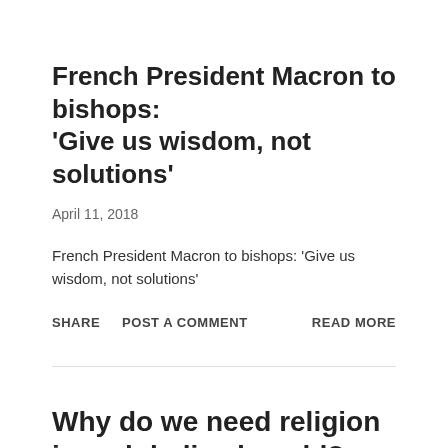French President Macron to bishops: 'Give us wisdom, not solutions'
April 11, 2018
French President Macron to bishops: 'Give us wisdom, not solutions'
SHARE   POST A COMMENT   READ MORE
Why do we need religion in a globalized world?